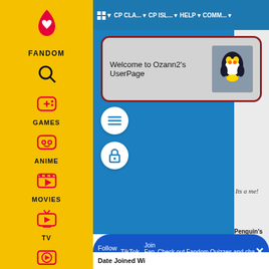AA ▾  CP CLA... ▾  CP ISL... ▾  HELP ▾  COMM... ▾
Welcome to Ozann2's UserPage
Its a me!
Penguin's Nam
Favorites
Member?
Follow on IG  TikTok  Join Fan Lab  Check out Fandom Quizzes and cha
Date Joined Wi